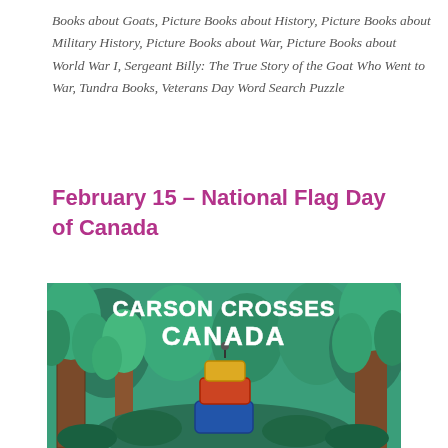Books about Goats, Picture Books about History, Picture Books about Military History, Picture Books about War, Picture Books about World War I, Sergeant Billy: The True Story of the Goat Who Went to War, Tundra Books, Veterans Day Word Search Puzzle
February 15 – National Flag Day of Canada
[Figure (illustration): Book cover of 'Carson Crosses Canada' showing illustrated forest scene with tall trees in greens and browns, and a camping scene with suitcases in the middle. White bold text reads 'CARSON CROSSES CANADA'.]